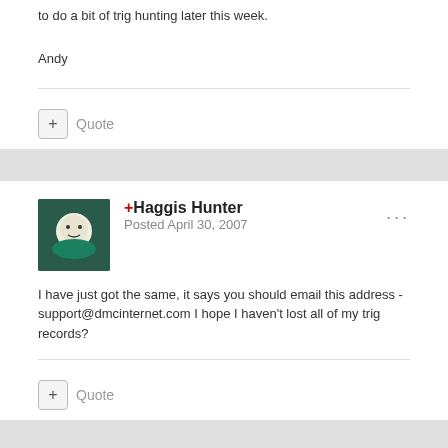to do a bit of trig hunting later this week.
Andy
+ Haggis Hunter
Posted April 30, 2007
I have just got the same, it says you should email this address - support@dmcinternet.com I hope I haven't lost all of my trig records?
+wizard1974uk
Posted April 30, 2007